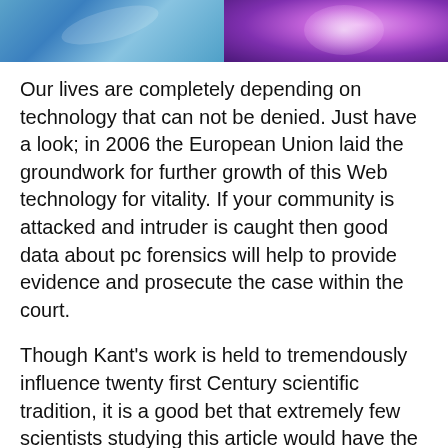[Figure (photo): Two side-by-side images: left shows a blue technological/circuit background, right shows a purple/pink glowing light effect]
Our lives are completely depending on technology that can not be denied. Just have a look; in 2006 the European Union laid the groundwork for further growth of this Web technology for vitality. If your community is attacked and intruder is caught then good data about pc forensics will help to provide evidence and prosecute the case within the court.
Though Kant's work is held to tremendously influence twenty first Century scientific tradition, it is a good bet that extremely few scientists studying this article would have the faintest clue that anybody ever reasoned about any form of electromagnetic ethic, or that scientists up to now wrote formulae to show how electromagnetic ethics balanced E=Mc2.
development of science and technology in indonesia, international journal of advanced science and technology indexing, science and technology index (sinta), ministry of